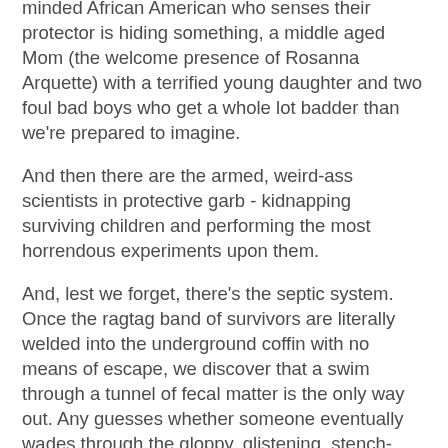minded African American who senses their protector is hiding something, a middle aged Mom (the welcome presence of Rosanna Arquette) with a terrified young daughter and two foul bad boys who get a whole lot badder than we're prepared to imagine.
And then there are the armed, weird-ass scientists in protective garb - kidnapping surviving children and performing the most horrendous experiments upon them.
And, lest we forget, there's the septic system. Once the ragtag band of survivors are literally welded into the underground coffin with no means of escape, we discover that a swim through a tunnel of fecal matter is the only way out. Any guesses whether someone eventually wades through the gloppy, glistening, stench-ridden tunnels?
As tensions rise, so do the acts of inhumanity - bullying, beatings, murder, torture, and even forced sexual slavery. If you're looking for a shred of hope, you might not find it in The Divide, but like all well constructed drama of this kind, the thing you look for in earnest amidst the depravity, comes